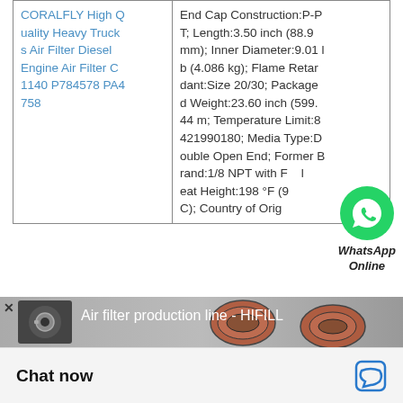| Product Name | Specifications |
| --- | --- |
| CORALFLY High Quality Heavy Trucks Air Filter Diesel Engine Air Filter C1140 P784578 PA4758 | End Cap Construction:P-PT; Length:3.50 inch (88.9 mm); Inner Diameter:9.01 lb (4.086 kg); Flame Retardant:Size 20/30; Packaged Weight:23.60 inch (599.44 m; Temperature Limit:8421990180; Media Type:Double Open End; Former Brand:1/8 NPT with F eat Height:198 °F (9 C); Country of Origin... |
[Figure (screenshot): WhatsApp Online button overlay showing green WhatsApp icon with text 'WhatsApp Online']
[Figure (screenshot): Video thumbnail banner for 'Air filter production line - HIFILL' showing air filter images on grey background]
Chat now